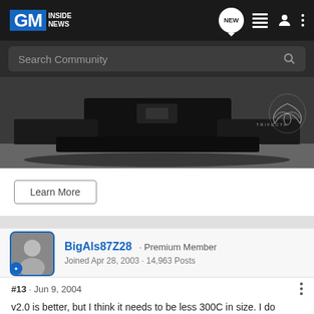GM Inside News
Search Community
[Figure (photo): Underside/rear diffuser view of a dark vehicle on asphalt parking lot, with Trifecta logo watermark in lower right corner]
Learn More
BigAls87Z28 · Premium Member
Joined Apr 28, 2003 · 14,963 Posts
#13 · Jun 9, 2004
v2.0 is better, but I think it needs to be less 300C in size. I do like the heritage Vertical headlights but maybe something more like the STS's headlights. Also, a sharper nose and have a